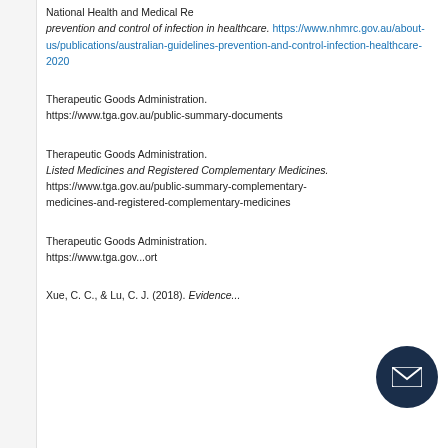National Health and Medical Research Council. Australian guidelines for the prevention and control of infection in healthcare. https://www.nhmrc.gov.au/about-us/publications/australian-guidelines-prevention-and-control-infection-healthcare-2020
Therapeutic Goods Administration. https://www.tga.gov.au/public-summary-documents
Therapeutic Goods Administration. Listed Medicines and Registered Complementary Medicines. https://www.tga.gov.au/public-summary-complementary-medicines-and-registered-complementary-medicines
Therapeutic Goods Administration. https://www.tga.gov.au/publications/ort
Xue, C. C., & Lu, C. J. (2018). Evidence...